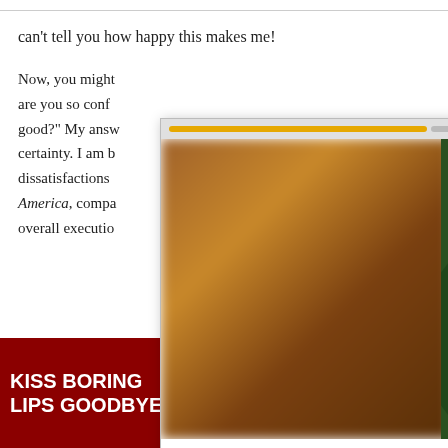can't tell you how happy this makes me!
Now, you might [be wondering...] are you so conf[ident this is] good?" My answ[er is...] certainty. I am b[ased on] dissatisfactions [...] America, compa[ring the] overall executio[n...]
[Figure (screenshot): Popup overlay showing a DC Harley Quinn comic advertisement with a film strip icon, progress bar, close (X) button, three-dots menu, comic book artwork with superhero characters, and an orange arrow button. Background shows blurred warm tones on the left and green comic artwork on the right.]
[Figure (screenshot): Bottom banner advertisement for Macy's with dark red background, bold white text reading 'KISS BORING LIPS GOODBYE', a photo of a woman with red lips in the center, a 'SHOP NOW' button in a white border rectangle, and the Macy's logo with a red star on the right.]